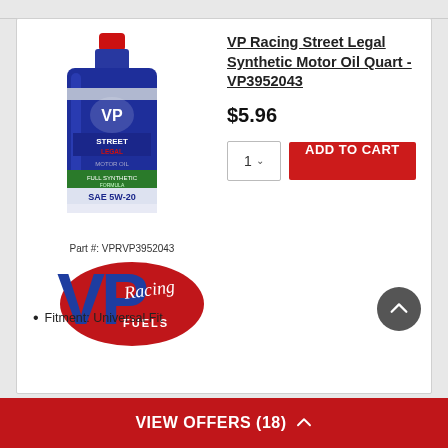[Figure (photo): VP Racing Street Legal Synthetic Motor Oil quart bottle, blue with red cap, SAE 5W-20 label]
Part #: VPRVP3952043
[Figure (logo): VP Racing Fuels logo with blue VP letters and red oval background]
VP Racing Street Legal Synthetic Motor Oil Quart - VP3952043
$5.96
1  ADD TO CART
Fitment: Universal Fit
VIEW OFFERS (18)